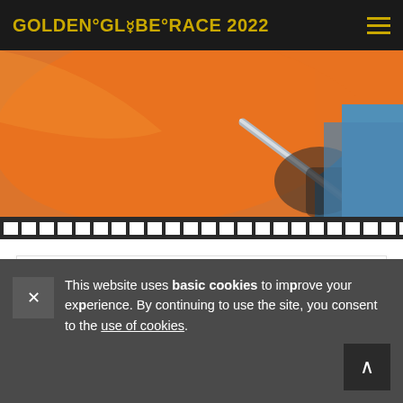GOLDEN°GLOBE°RACE 2022
[Figure (photo): Close-up photo of orange sail with a person holding a metal rail, with blue sea in background. Below the photo is a dark filmstrip bar with white rectangle cells.]
G°G°R Latest News
This website uses basic cookies to improve your experience. By continuing to use the site, you consent to the use of cookies.